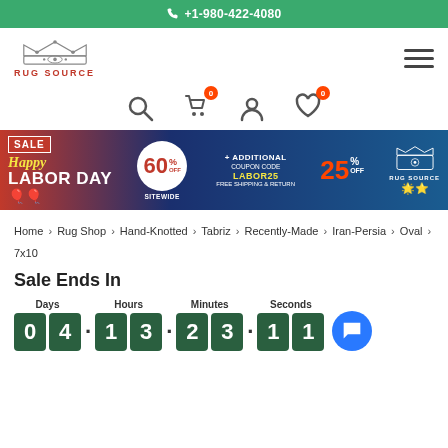+1-980-422-4080
[Figure (logo): Rug Source logo with crown and text RUG SOURCE in red]
[Figure (infographic): Happy Labor Day sale banner: 60% off sitewide, additional 25% off with coupon code LABOR25, free shipping and return]
Home > Rug Shop > Hand-Knotted > Tabriz > Recently-Made > Iran-Persia > Oval > 7x10
Sale Ends In
Days: 04  Hours: 13  Minutes: 23  Seconds: 11